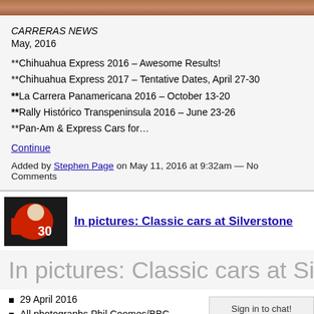[Figure (photo): Top banner image showing a reddish-brown road or terrain, partially cropped at top]
CARRERAS NEWS
May, 2016
**Chihuahua Express 2016 – Awesome Results!
**Chihuahua Express 2017 – Tentative Dates, April 27-30
**La Carrera Panamericana 2016 – October 13-20
**Rally Histórico Transpeninsula 2016 – June 23-26
**Pan-Am & Express Cars for…
Continue
Added by Stephen Page on May 11, 2016 at 9:32am — No Comments
[Figure (photo): Thumbnail image of a racing driver waving from a red car, number 30]
In pictures: Classic cars at Silverstone
In pictures: Classic cars at Silv
29 April 2016
All photographs Phil Coomes/BBC.
Sign in to chat!